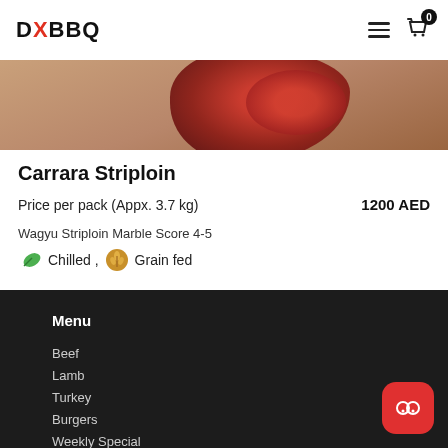DXBBQ
[Figure (photo): Close-up photo of raw Wagyu Carrara Striploin steak on a wooden cutting board]
Carrara Striploin
Price per pack (Appx. 3.7 kg)    1200 AED
Wagyu Striploin Marble Score 4-5
Chilled , Grain fed
Menu
Beef
Lamb
Turkey
Burgers
Weekly Special
BBQ R...